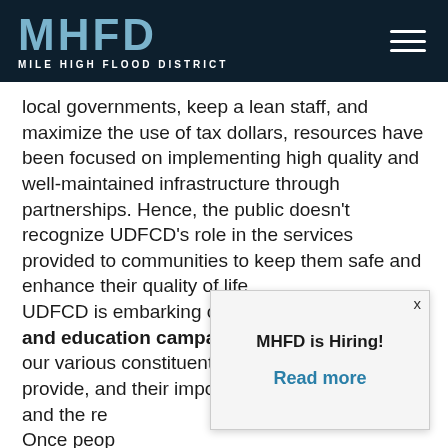MHFD MILE HIGH FLOOD DISTRICT
local governments, keep a lean staff, and maximize the use of tax dollars, resources have been focused on implementing high quality and well-maintained infrastructure through partnerships. Hence, the public doesn't recognize UDFCD's role in the services provided to communities to keep them safe and enhance their quality of life. UDFCD is embarking on a public information and education campaign to communicate with our various constituents on the services we provide, and their impo and the re Once peop benefit the overwhelm
MHFD is Hiring! Read more